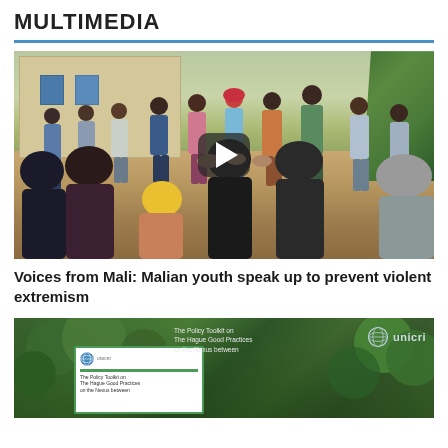MULTIMEDIA
[Figure (photo): Video thumbnail showing a group of young people standing in a circle holding hands in an outdoor courtyard setting in Mali, with a play button overlay indicating it is a video.]
Voices from Mali: Malian youth speak up to prevent violent extremism
[Figure (photo): Aerial or overhead shot showing green foliage and a UNICRI policy toolkit document about The Hague Good Practices on the Nexus between, with the UNICRI logo visible.]